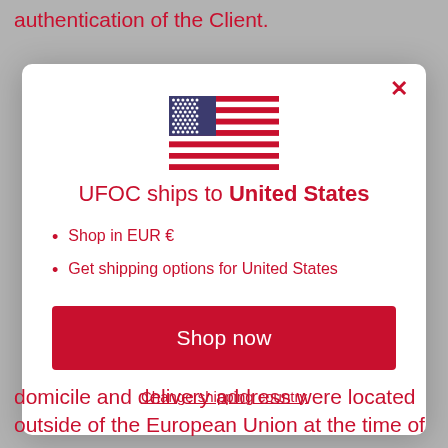authentication of the Client.
[Figure (screenshot): A modal dialog box showing UFOC ships to United States with a US flag, bullet points listing shop in EUR € and get shipping options for United States, a Shop now button, and a Change shipping country link.]
domicile and delivery address were located outside of the European Union at the time of